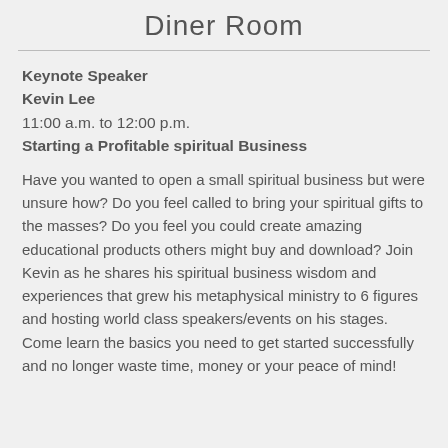Diner Room
Keynote Speaker
Kevin Lee
11:00 a.m. to 12:00 p.m.
Starting a Profitable spiritual Business
Have you wanted to open a small spiritual business but were unsure how? Do you feel called to bring your spiritual gifts to the masses? Do you feel you could create amazing educational products others might buy and download? Join Kevin as he shares his spiritual business wisdom and experiences that grew his metaphysical ministry to 6 figures and hosting world class speakers/events on his stages. Come learn the basics you need to get started successfully and no longer waste time, money or your peace of mind!